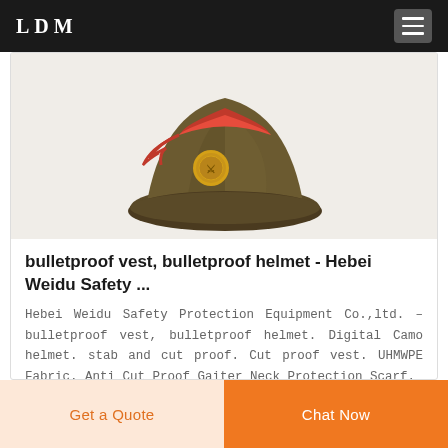LDM
[Figure (photo): Military-style olive/brown garrison cap with red trim and a gold badge/emblem on the front, photographed on a white background, partially cropped at top.]
bulletproof vest, bulletproof helmet - Hebei Weidu Safety ...
Hebei Weidu Safety Protection Equipment Co.,ltd. – bulletproof vest, bulletproof helmet. Digital Camo helmet. stab and cut proof. Cut proof vest. UHMWPE Fabric. Anti Cut Proof Gaiter Neck Protection Scarf.
Get a Quote
Chat Now